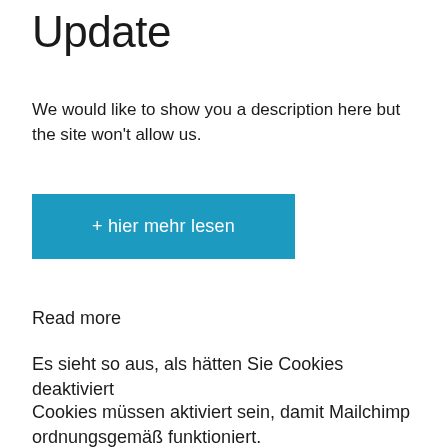Update
We would like to show you a description here but the site won't allow us.
+ hier mehr lesen
Read more
Es sieht so aus, als hätten Sie Cookies deaktiviert
Cookies müssen aktiviert sein, damit Mailchimp ordnungsgemäß funktioniert.